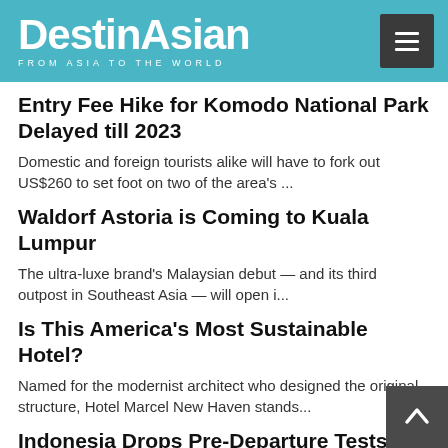DestinAsian — FROM ASIA TO THE WORLD
Entry Fee Hike for Komodo National Park Delayed till 2023
Domestic and foreign tourists alike will have to fork out US$260 to set foot on two of the area's ...
Waldorf Astoria is Coming to Kuala Lumpur
The ultra-luxe brand's Malaysian debut — and its third outpost in Southeast Asia — will open i...
Is This America's Most Sustainable Hotel?
Named for the modernist architect who designed the original structure, Hotel Marcel New Haven stands...
Indonesia Drops Pre-Departure Tests for Travelers
Southeast Asia's biggest country has finally followed in the footsteps of neighboring Malaysia and...